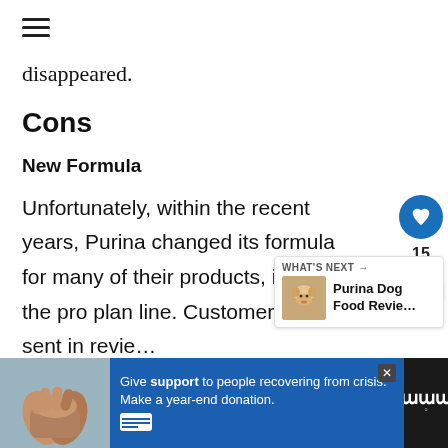☰ (hamburger menu icon)
disappeared.
Cons
New Formula
Unfortunately, within the recent years, Purina changed its formula for many of their products, including the pro plan line. Customers have sent in revie… stating that their dogs loved the
[Figure (other): Advertisement banner: hands clasped together image on left, blue background with text 'Give support to people recovering from crisis. Make a year-end donation.' and close button, dark logo area on right with stylized W and degree symbol.]